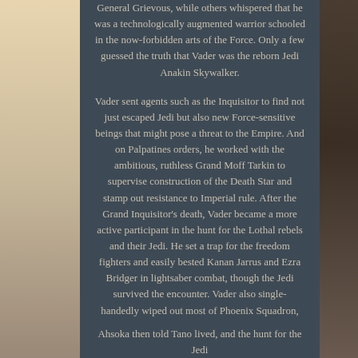General Grievous, while others whispered that he was a technologically augmented warrior schooled in the now-forbidden arts of the Force. Only a few guessed the truth that Vader was the reborn Jedi Anakin Skywalker.

Vader sent agents such as the Inquisitor to find not just escaped Jedi but also new Force-sensitive beings that might pose a threat to the Empire. And on Palpatines orders, he worked with the ambitious, ruthless Grand Moff Tarkin to supervise construction of the Death Star and stamp out resistance to Imperial rule. After the Grand Inquisitor's death, Vader became a more active participant in the hunt for the Lothal rebels and their Jedi. He set a trap for the freedom fighters and easily bested Kanan Jarrus and Ezra Bridger in lightsaber combat, though the Jedi survived the encounter. Vader also single-handedly wiped out most of Phoenix Squadron, but it was during this battle that he made a startling discovery: Ahsoka Tano lived.
(partial text continuing below)